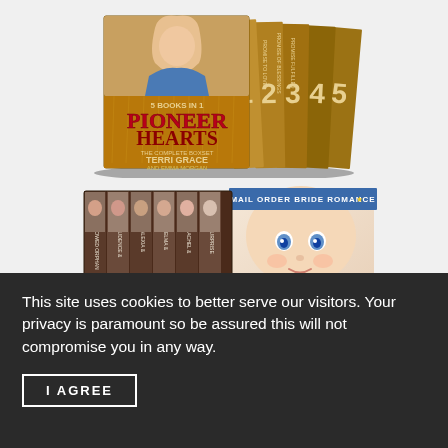[Figure (photo): Book box set cover for 'Pioneer Hearts: The Complete Boxset' by Terri Grace and Emma Morgan — 5 books in 1, showing spine covers numbered 1-5 with wheat/gold theme]
[Figure (photo): Book box set cover for 'Mail Order Bride Romance' series showing multiple books with women's faces on spines and a baby's face on the right side]
This site uses cookies to better serve our visitors. Your privacy is paramount so be assured this will not compromise you in any way.
I AGREE